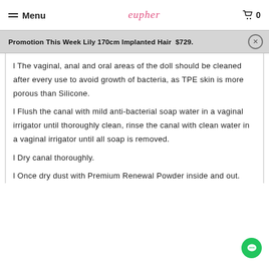Menu | eupher | 0
Promotion This Week Lily 170cm Implanted Hair $729.
l The vaginal, anal and oral areas of the doll should be cleaned after every use to avoid growth of bacteria, as TPE skin is more porous than Silicone.
l Flush the canal with mild anti-bacterial soap water in a vaginal irrigator until thoroughly clean, rinse the canal with clean water in a vaginal irrigator until all soap is removed.
l Dry canal thoroughly.
l Once dry dust with Premium Renewal Powder inside and out.